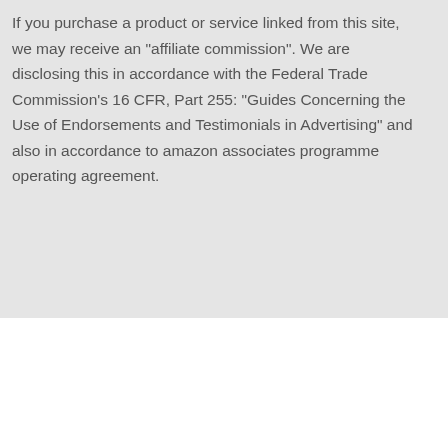If you purchase a product or service linked from this site, we may receive an "affiliate commission". We are disclosing this in accordance with the Federal Trade Commission's 16 CFR, Part 255: "Guides Concerning the Use of Endorsements and Testimonials in Advertising" and also in accordance to amazon associates programme operating agreement.